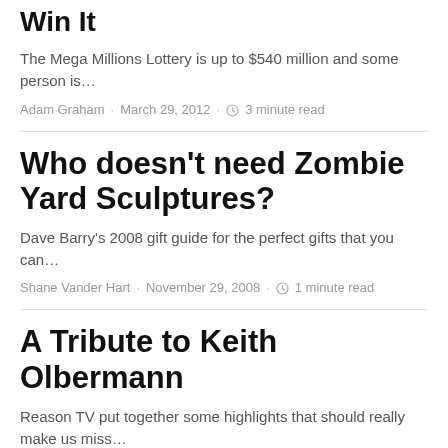Win It
The Mega Millions Lottery is up to $540 million and some person is…
Adam Graham · March 29, 2012 · 3 minute read
Who doesn't need Zombie Yard Sculptures?
Dave Barry's 2008 gift guide for the perfect gifts that you can…
Shane Vander Hart · November 29, 2008 · 1 minute read
A Tribute to Keith Olbermann
Reason TV put together some highlights that should really make us miss…